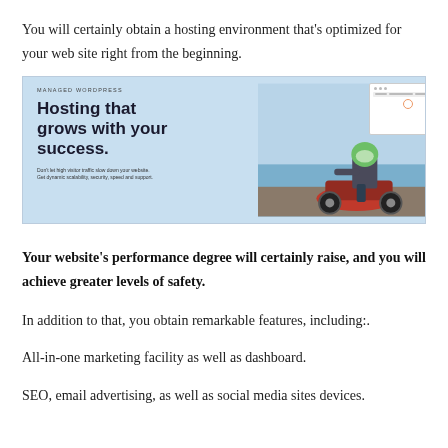You will certainly obtain a hosting environment that's optimized for your web site right from the beginning.
[Figure (screenshot): Managed WordPress hosting advertisement image showing 'Hosting that grows with your success.' with a motorcyclist on the right side and a browser UI mockup overlay.]
Your website's performance degree will certainly raise, and you will achieve greater levels of safety.
In addition to that, you obtain remarkable features, including:.
All-in-one marketing facility as well as dashboard.
SEO, email advertising, as well as social media sites devices.